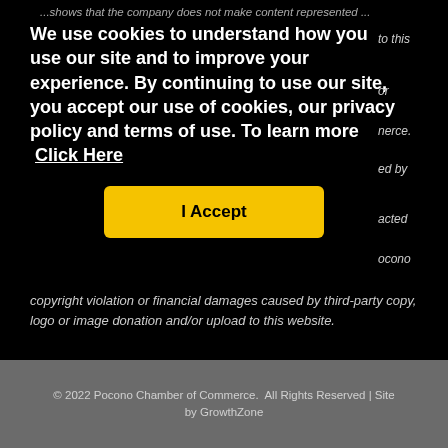...shows that the company does not make content represented ...to this
We use cookies to understand how you use our site and to improve your experience. By continuing to use our site, you accept our use of cookies, our privacy policy and terms of use. To learn more  Click Here
I Accept
copyright violation or financial damages caused by third-party copy, logo or image donation and/or upload to this website.
© 2022 Pocono Chamber of Commerce.  All Rights Reserved | Site by GrowthZone